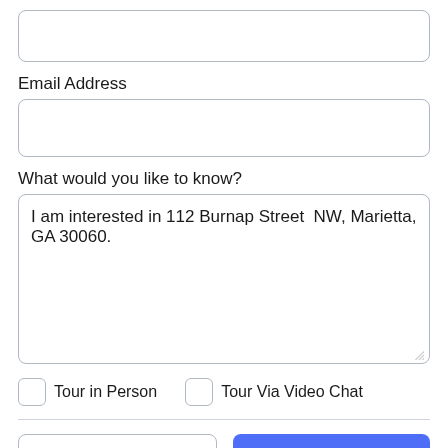[Figure (screenshot): Empty text input field at top of form]
Email Address
[Figure (screenshot): Empty email address input field]
What would you like to know?
[Figure (screenshot): Textarea with text: I am interested in 112 Burnap Street NW, Marietta, GA 30060.]
Tour in Person
Tour Via Video Chat
Take a Tour
Ask A Question